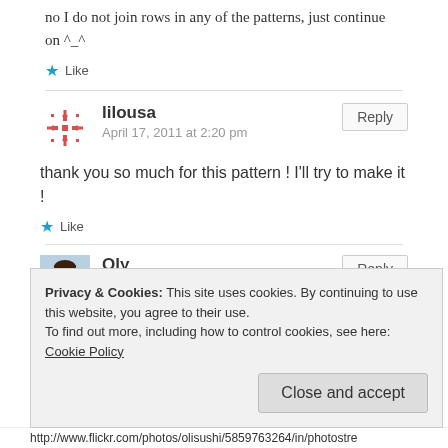no I do not join rows in any of the patterns, just continue on ^_^
★ Like
lilousa
April 17, 2011 at 2:20 pm
Reply
thank you so much for this pattern ! I'll try to make it !
★ Like
Oly
Reply
Privacy & Cookies: This site uses cookies. By continuing to use this website, you agree to their use.
To find out more, including how to control cookies, see here: Cookie Policy
Close and accept
http://www.flickr.com/photos/olisushi/5859763264/in/photostre